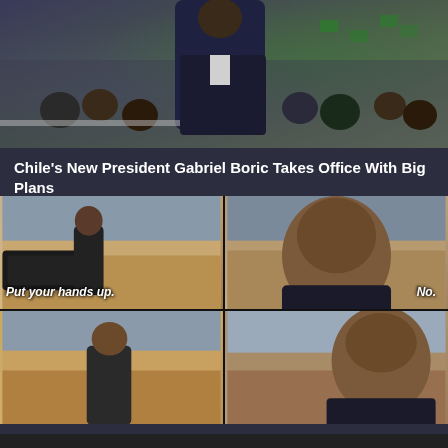[Figure (photo): Photo of Chile's new President Gabriel Boric raising his arm in celebration surrounded by a crowd with flags]
Chile's New President Gabriel Boric Takes Office With Big Plans
BRAINBERRIES
[Figure (photo): 2x2 meme grid showing Russia vs Ukraine standoff meme with Russian and Ukrainian flags overlaid on faces. Top-left: man with Russian flag saying 'Put your hands up.' Top-right: man with Ukrainian flag saying 'No.' Bottom-left: man with Russian flag. Bottom-right: man with Ukrainian flag.]
12 Most Poignant Memes On Russian Attack On Ukraine
BRAINBERRIES